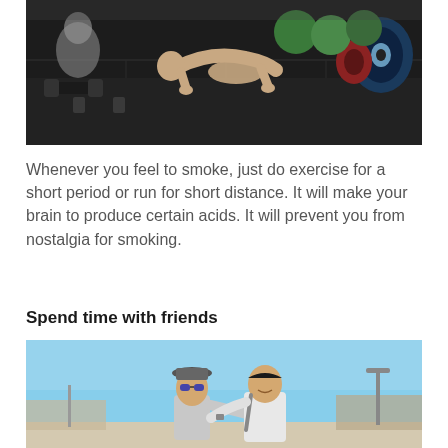[Figure (photo): Person doing push-ups on a dark rubber gym floor, surrounded by dumbbells, weight plates, and exercise balls in a gym setting]
Whenever you feel to smoke, just do exercise for a short period or run for short distance. It will make your brain to produce certain acids. It will prevent you from nostalgia for smoking.
Spend time with friends
[Figure (photo): Two young people standing outdoors on a sunny day with a blue sky background, one wearing a hat and sunglasses, the other in a white shirt, posing together on a street]